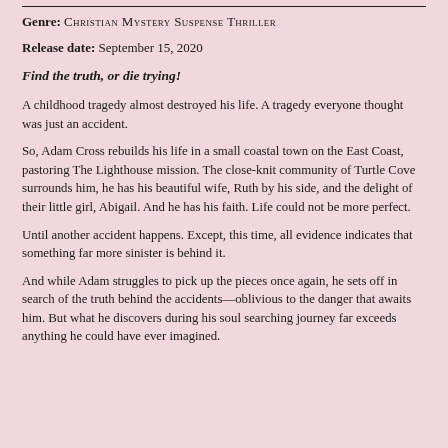Genre: CHRISTIAN MYSTERY SUSPENSE THRILLER
Release date: September 15, 2020
Find the truth, or die trying!
A childhood tragedy almost destroyed his life. A tragedy everyone thought was just an accident.
So, Adam Cross rebuilds his life in a small coastal town on the East Coast, pastoring The Lighthouse mission. The close-knit community of Turtle Cove surrounds him, he has his beautiful wife, Ruth by his side, and the delight of their little girl, Abigail. And he has his faith. Life could not be more perfect.
Until another accident happens. Except, this time, all evidence indicates that something far more sinister is behind it.
And while Adam struggles to pick up the pieces once again, he sets off in search of the truth behind the accidents—oblivious to the danger that awaits him. But what he discovers during his soul searching journey far exceeds anything he could have ever imagined.